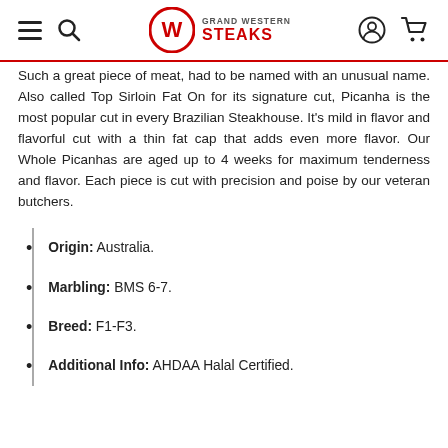Grand Western Steaks (navigation header with hamburger menu, search, logo, user account, and cart icons)
Such a great piece of meat, had to be named with an unusual name. Also called Top Sirloin Fat On for its signature cut, Picanha is the most popular cut in every Brazilian Steakhouse. It's mild in flavor and flavorful cut with a thin fat cap that adds even more flavor. Our Whole Picanhas are aged up to 4 weeks for maximum tenderness and flavor. Each piece is cut with precision and poise by our veteran butchers.
Origin: Australia.
Marbling: BMS 6-7.
Breed: F1-F3.
Additional Info: AHDAA Halal Certified.